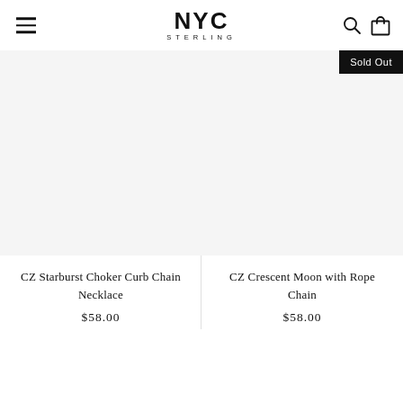NYC STERLING
[Figure (photo): Product image area for CZ Starburst Choker Curb Chain Necklace (white/light gray background)]
Sold Out
CZ Starburst Choker Curb Chain Necklace
$58.00
[Figure (photo): Product image area for CZ Crescent Moon with Rope Chain (white/light gray background)]
CZ Crescent Moon with Rope Chain
$58.00